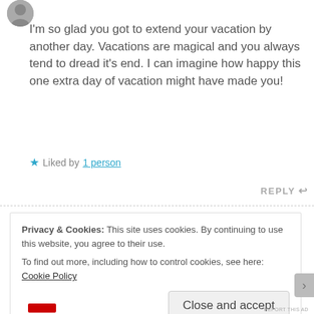[Figure (photo): Circular avatar photo of a person, partially visible at top left]
I'm so glad you got to extend your vacation by another day. Vacations are magical and you always tend to dread it's end. I can imagine how happy this one extra day of vacation might have made you!
★ Liked by 1 person
REPLY ↩
Privacy & Cookies: This site uses cookies. By continuing to use this website, you agree to their use.
To find out more, including how to control cookies, see here: Cookie Policy
Close and accept